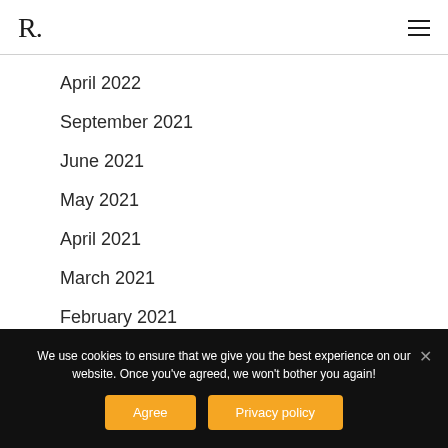R.
April 2022
September 2021
June 2021
May 2021
April 2021
March 2021
February 2021
We use cookies to ensure that we give you the best experience on our website. Once you've agreed, we won't bother you again!